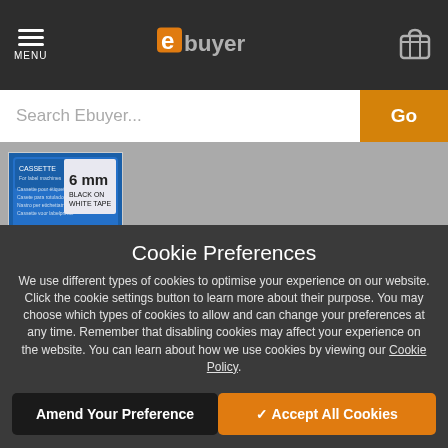ebuyer — MENU
Search Ebuyer...
[Figure (photo): Product image of a label cassette tape, 6mm, black on white]
Cookie Preferences
We use different types of cookies to optimise your experience on our website. Click the cookie settings button to learn more about their purpose. You may choose which types of cookies to allow and can change your preferences at any time. Remember that disabling cookies may affect your experience on the website. You can learn about how we use cookies by viewing our Cookie Policy.
Amend Your Preference
✓ Accept All Cookies